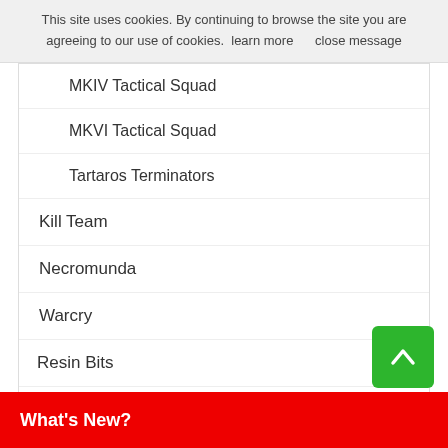This site uses cookies. By continuing to browse the site you are agreeing to our use of cookies.  learn more     close message
MKIV Tactical Squad
MKVI Tactical Squad
Tartaros Terminators
Kill Team
Necromunda
Warcry
Resin Bits
Misc
What's New?